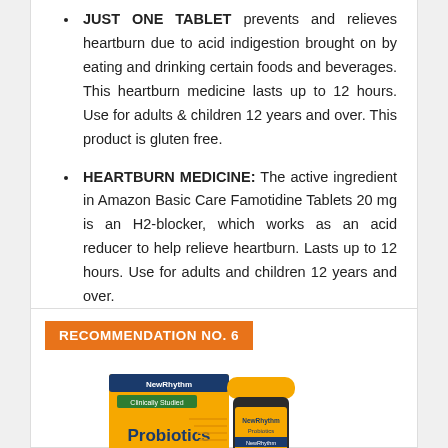JUST ONE TABLET prevents and relieves heartburn due to acid indigestion brought on by eating and drinking certain foods and beverages. This heartburn medicine lasts up to 12 hours. Use for adults & children 12 years and over. This product is gluten free.
HEARTBURN MEDICINE: The active ingredient in Amazon Basic Care Famotidine Tablets 20 mg is an H2-blocker, which works as an acid reducer to help relieve heartburn. Lasts up to 12 hours. Use for adults and children 12 years and over.
Check Now
RECOMMENDATION NO. 6
[Figure (photo): Product image showing NewRhythm Clinically Studied Probiotics supplement bottle with yellow cap and packaging]